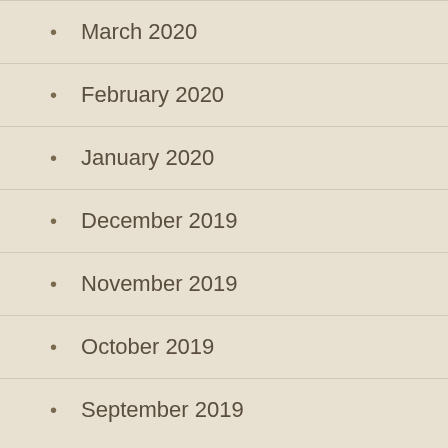March 2020
February 2020
January 2020
December 2019
November 2019
October 2019
September 2019
Categories
Category Book Study
Category Chapter Study